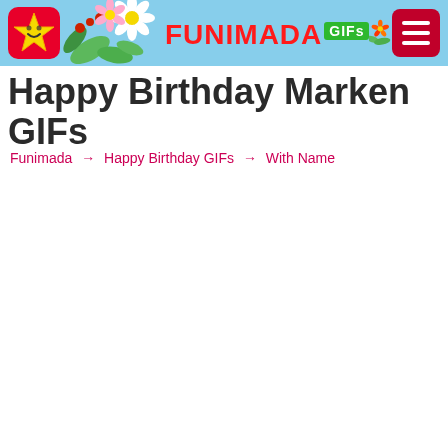[Figure (screenshot): Funimada website header with logo star, floral decorations, red FUNIMADA text with green GIFs badge, and hamburger menu button on light blue background]
Happy Birthday Marken GIFs
Funimada → Happy Birthday GIFs → With Name